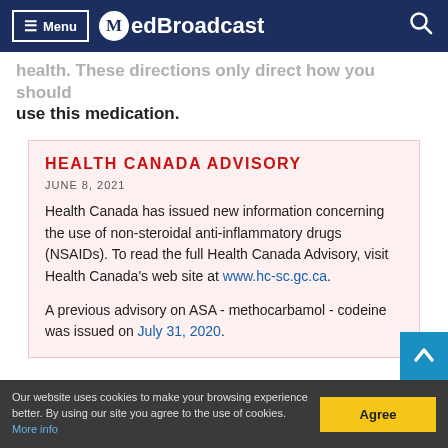MedBroadcast (Menu / Search navigation)
health. These instructions direct how you should use this medication.
HEALTH CANADA ADVISORY
JUNE 8, 2021
Health Canada has issued new information concerning the use of non-steroidal anti-inflammatory drugs (NSAIDs). To read the full Health Canada Advisory, visit Health Canada's web site at www.hc-sc.gc.ca.
A previous advisory on ASA - methocarbamol - codeine was issued on July 31, 2020.
Our website uses cookies to make your browsing experience better. By using our site you agree to the use of cookies. More info